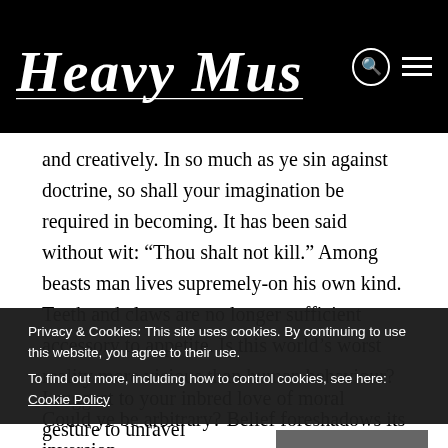Heavy Music Artwork
and creatively. In so much as ye sin against doctrine, so shall your imagination be required in becoming. It has been said without wit: “Thou shalt not kill.” Among beasts man lives supremely-on his own kind. Teeth and claws are no longer sufficient accessory to appetite. Is this world’s worst reality more vicious than human behaviour?
I suggest to your inbred love of moral gesture to unravel
Privacy & Cookies: This site uses cookies. By continuing to use this website, you agree to their use.
To find out more, including how to control cookies, see here: Cookie Policy
Could ye be arbitrary? Belief foreshadows its inversion.